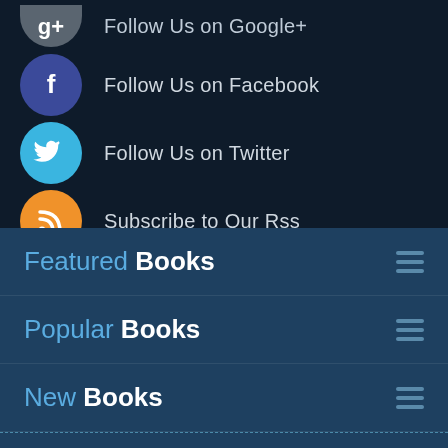Follow Us on Google+
Follow Us on Facebook
Follow Us on Twitter
Subscribe to Our Rss
Featured Books
Popular Books
New Books
Disclamer